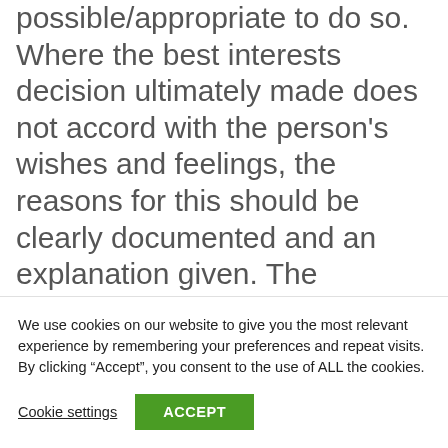possible/appropriate to do so. Where the best interests decision ultimately made does not accord with the person's wishes and feelings, the reasons for this should be clearly documented and an explanation given. The
We use cookies on our website to give you the most relevant experience by remembering your preferences and repeat visits. By clicking “Accept”, you consent to the use of ALL the cookies.
Cookie settings    ACCEPT